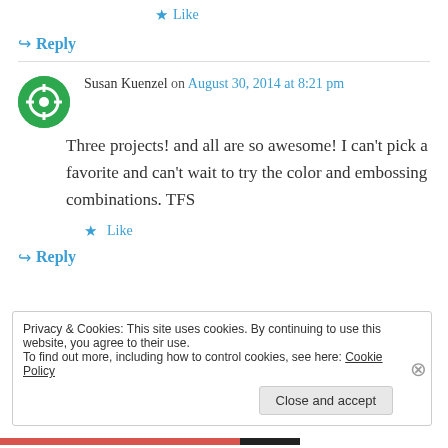★ Like
↪ Reply
Susan Kuenzel on August 30, 2014 at 8:21 pm
Three projects! and all are so awesome! I can't pick a favorite and can't wait to try the color and embossing combinations. TFS
★ Like
↪ Reply
Privacy & Cookies: This site uses cookies. By continuing to use this website, you agree to their use.
To find out more, including how to control cookies, see here: Cookie Policy
Close and accept